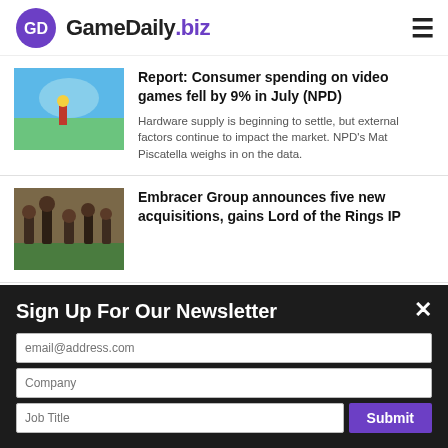GameDaily.biz
Report: Consumer spending on video games fell by 9% in July (NPD)
Hardware supply is beginning to settle, but external factors continue to impact the market. NPD's Mat Piscatella weighs in on the data.
Embracer Group announces five new acquisitions, gains Lord of the Rings IP
Sign Up For Our Newsletter
email@address.com
Company
Job Title
Submit